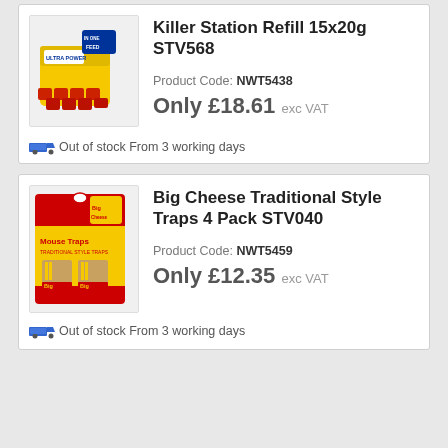Killer Station Refill 15x20g STV568
Product Code: NWT5438
Only £18.61 exc VAT
From 3 working days / Out of stock
Big Cheese Traditional Style Traps 4 Pack STV040
Product Code: NWT5459
Only £12.35 exc VAT
From 3 working days / Out of stock